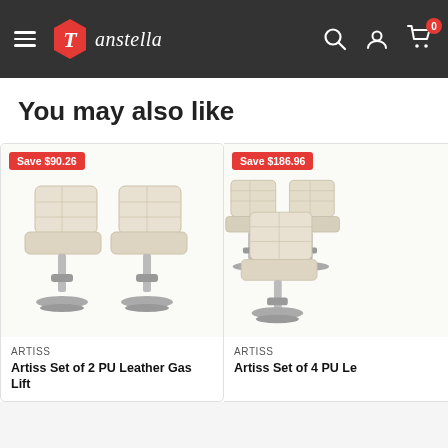Tanstella navigation header with hamburger menu, logo, search, account, and cart icons
You may also like
[Figure (photo): Product card: Artiss Set of 2 PU Leather Gas Lift bar stools in cream/beige color on chrome bases. Save $90.26 badge.]
ARTISS
Artiss Set of 2 PU Leather Gas Lift
[Figure (photo): Product card (partially visible): Artiss Set of 4 PU Leather bar stools in cream/beige. Save $186.96 badge.]
ARTISS
Artiss Set of 4 PU Le